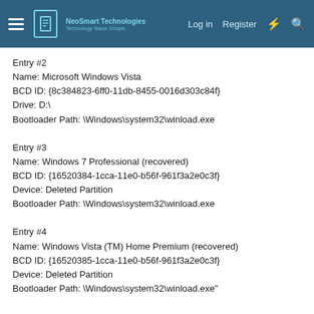NeoSmart Technologies — Log in | Register
Entry #2
Name: Microsoft Windows Vista
BCD ID: {8c384823-6ff0-11db-8455-0016d303c84f}
Drive: D:\
Bootloader Path: \Windows\system32\winload.exe
Entry #3
Name: Windows 7 Professional (recovered)
BCD ID: {16520384-1cca-11e0-b56f-961f3a2e0c3f}
Device: Deleted Partition
Bootloader Path: \Windows\system32\winload.exe
Entry #4
Name: Windows Vista (TM) Home Premium (recovered)
BCD ID: {16520385-1cca-11e0-b56f-961f3a2e0c3f}
Device: Deleted Partition
Bootloader Path: \Windows\system32\winload.exe"